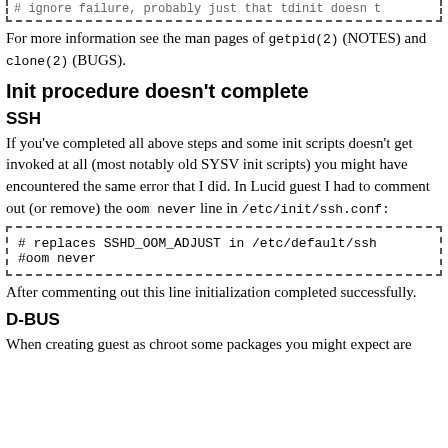# ignore failure, probably just that tdinit doesn't...
Init procedure doesn't complete
SSH
If you've completed all above steps and some init scripts doesn't get invoked at all (most notably old SYSV init scripts) you might have encountered the same error that I did. In Lucid guest I had to comment out (or remove) the oom never line in /etc/init/ssh.conf:
# replaces SSHD_OOM_ADJUST in /etc/default/ssh
#oom never
After commenting out this line initialization completed successfully.
D-BUS
When creating guest as chroot some packages you might expect are